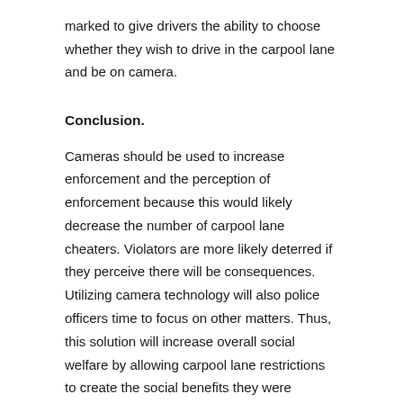marked to give drivers the ability to choose whether they wish to drive in the carpool lane and be on camera.
Conclusion.
Cameras should be used to increase enforcement and the perception of enforcement because this would likely decrease the number of carpool lane cheaters. Violators are more likely deterred if they perceive there will be consequences. Utilizing camera technology will also police officers time to focus on other matters. Thus, this solution will increase overall social welfare by allowing carpool lane restrictions to create the social benefits they were intended to create.